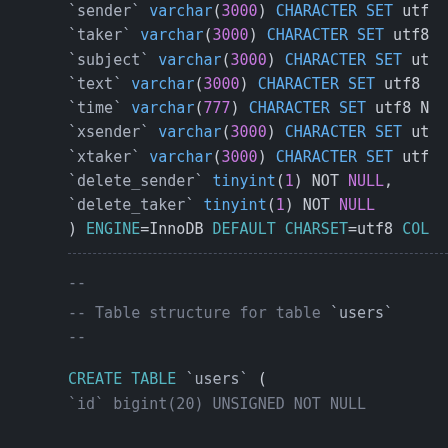SQL code snippet showing table column definitions and CREATE TABLE statement for users table